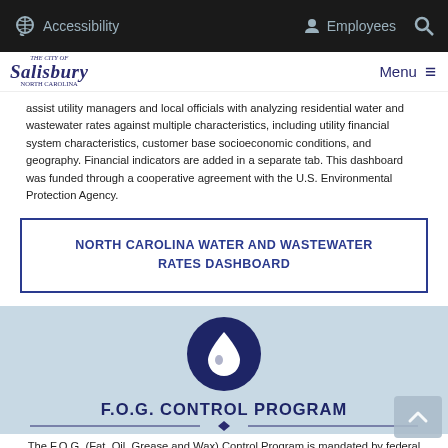Accessibility  Employees
[Figure (logo): City of Salisbury, North Carolina logo]
assist utility managers and local officials with analyzing residential water and wastewater rates against multiple characteristics, including utility financial system characteristics, customer base socioeconomic conditions, and geography. Financial indicators are added in a separate tab. This dashboard was funded through a cooperative agreement with the U.S. Environmental Protection Agency.
NORTH CAROLINA WATER AND WASTEWATER RATES DASHBOARD
[Figure (illustration): Dark navy blue circle with white water drop icon representing F.O.G. Control Program]
F.O.G. CONTROL PROGRAM
The F.O.G. (Fat, Oil, Grease and Wax) Control Program is mandated by federal and state government and includes an educational component for residential and non-residential